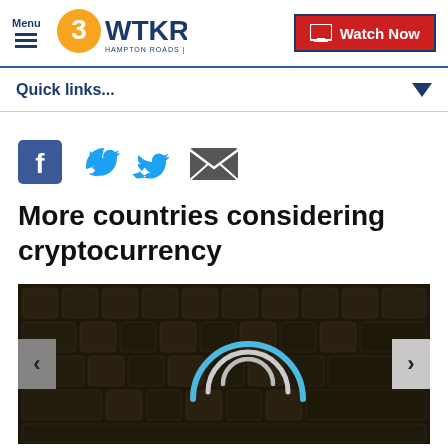Menu | 3WTKR HAMPTON ROADS | NORTHEAST NC | Watch Now
Quick links...
[Figure (other): Social sharing icons: Facebook, Twitter, Email]
More countries considering cryptocurrency
[Figure (photo): Dark keyboard image with cryptocurrency/wifi arc symbol overlay, with left and right slideshow navigation arrows]